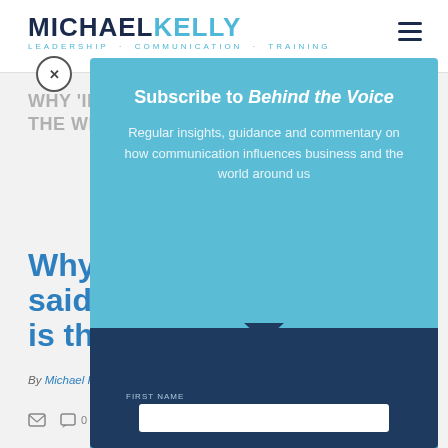MICHAEL KELLY — LEADERSHIP · COMMUNICATION · TRAINING
WHY 'IF ONLY I HAD SAID THIS' IS THE WRONG STRATEGY
Why 'if only I had said this' is the wrong strategy
By Michael Kelly, Founder and Principal Trainer, Luminary
[Figure (screenshot): Subscribe to Behind the Voice overlay popup with teal background. Title reads 'Subscribe to Behind the Voice'. Subtext: 'Regular insights, guidance and commentary on how communication influences business and the world around us'. Below is a dark navy section with a First Name input field.]
Subscribe to Behind the Voice
Regular insights, guidance and commentary on how communication influences business and the world around us